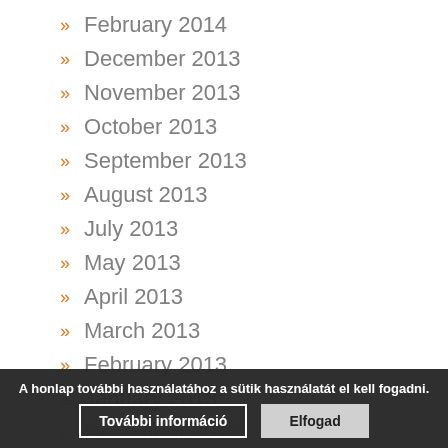February 2014
December 2013
November 2013
October 2013
September 2013
August 2013
July 2013
May 2013
April 2013
March 2013
February 2013
January 2013
December 2012
September 2012
A honlap további használatához a sütik használatát el kell fogadni. További információ  Elfogad